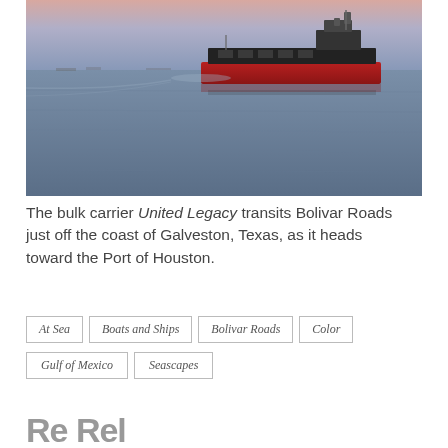[Figure (photo): A large red bulk carrier ship named United Legacy transiting calm blue-gray ocean water at dusk/dawn, with a pink sky in the background. The ship has a dark hull top and red lower hull, moving through still water leaving a gentle wake.]
The bulk carrier United Legacy transits Bolivar Roads just off the coast of Galveston, Texas, as it heads toward the Port of Houston.
At Sea
Boats and Ships
Bolivar Roads
Color
Gulf of Mexico
Seascapes
Re Rel